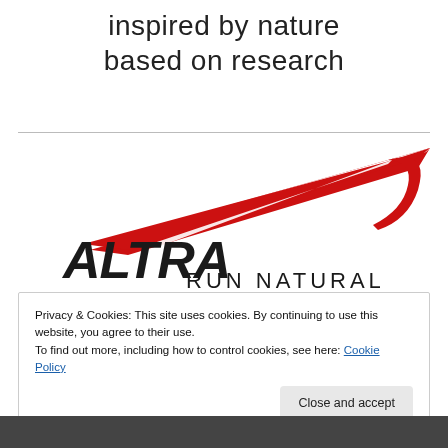inspired by nature
based on research
[Figure (logo): Altra Running logo with red wing/chevron graphic above stylized italic text ALTRA and tagline RUN NATURAL]
Privacy & Cookies: This site uses cookies. By continuing to use this website, you agree to their use.
To find out more, including how to control cookies, see here: Cookie Policy
Close and accept